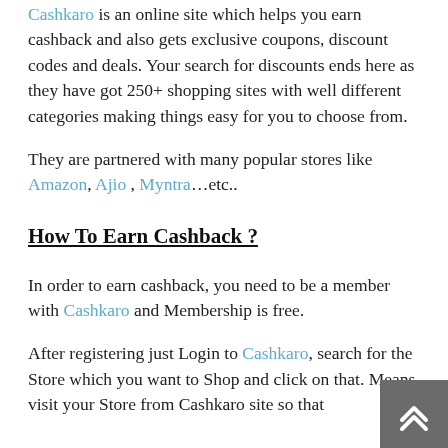Cashkaro is an online site which helps you earn cashback and also gets exclusive coupons, discount codes and deals. Your search for discounts ends here as they have got 250+ shopping sites with well different categories making things easy for you to choose from.
They are partnered with many popular stores like Amazon, Ajio , Myntra…etc..
How To Earn Cashback ?
In order to earn cashback, you need to be a member with Cashkaro and Membership is free.
After registering just Login to Cashkaro, search for the Store which you want to Shop and click on that. Means visit your Store from Cashkaro site so that